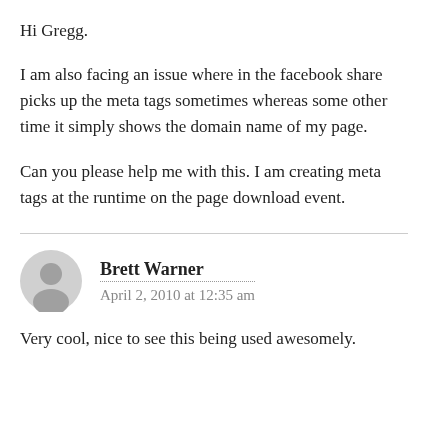Hi Gregg.
I am also facing an issue where in the facebook share picks up the meta tags sometimes whereas some other time it simply shows the domain name of my page.
Can you please help me with this. I am creating meta tags at the runtime on the page download event.
Brett Warner
April 2, 2010 at 12:35 am
Very cool, nice to see this being used awesomely.